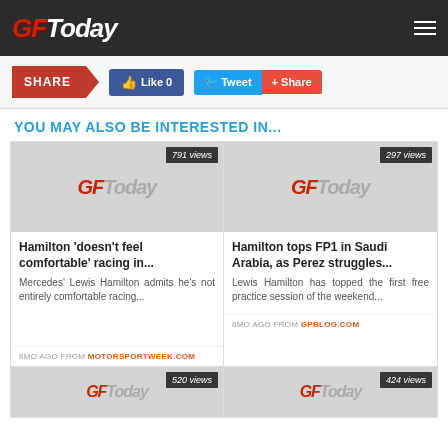GFToday
SHARE | Like 0 | Tweet | Share
YOU MAY ALSO BE INTERESTED IN...
[Figure (screenshot): GFToday logo placeholder image with 791 views badge]
Hamilton 'doesn't feel comfortable' racing in...
Mercedes' Lewis Hamilton admits he's not entirely comfortable racing...
8MO AGO FROM MOTORSPORTWEEK.COM
[Figure (screenshot): GFToday logo placeholder image with 297 views badge]
Hamilton tops FP1 in Saudi Arabia, as Perez struggles...
Lewis Hamilton has topped the first free practice session of the weekend...
8MO AGO FROM GPBLOG.COM
[Figure (screenshot): GFToday logo placeholder image with 520 views badge]
[Figure (screenshot): GFToday logo placeholder image with 424 views badge]